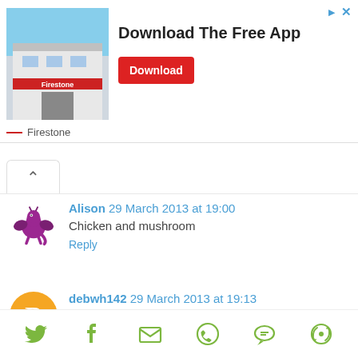[Figure (infographic): Advertisement banner for Firestone app download. Shows a Firestone store building photo on the left, bold text 'Download The Free App' in the center, and a red 'Download' button. Top right has small ad indicator icons (triangle and X). Bottom left shows '— Firestone' brand label.]
Download The Free App
Download
Firestone
Alison 29 March 2013 at 19:00
Chicken and mushroom
Reply
debwh142 29 March 2013 at 19:13
chicken and mushroom
Reply
Unknown 29 March 2013 at 19:41
[Figure (infographic): Social sharing bar with icons for Twitter, Facebook, Email, WhatsApp, SMS, and share/other in green color]